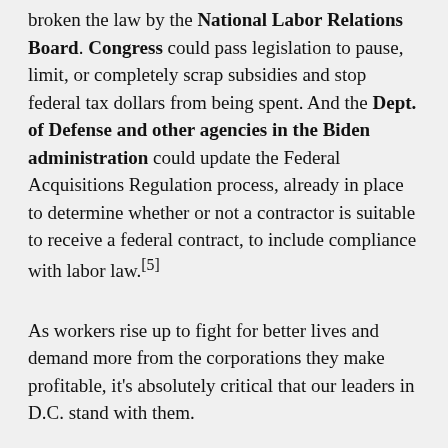broken the law by the National Labor Relations Board. Congress could pass legislation to pause, limit, or completely scrap subsidies and stop federal tax dollars from being spent. And the Dept. of Defense and other agencies in the Biden administration could update the Federal Acquisitions Regulation process, already in place to determine whether or not a contractor is suitable to receive a federal contract, to include compliance with labor law.[5]
As workers rise up to fight for better lives and demand more from the corporations they make profitable, it's absolutely critical that our leaders in D.C. stand with them.
President Biden and Congress must stop multibillion dollar companies engaged in illegal anti-union